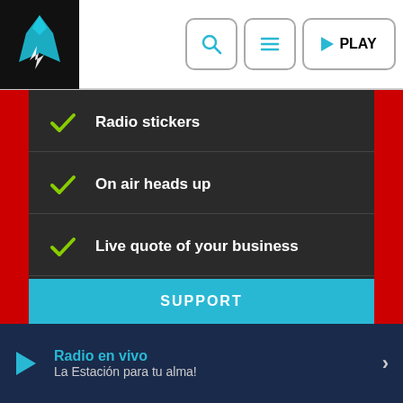[Figure (logo): White eagle/hawk logo on black background]
Radio stickers
On air heads up
Live quote of your business
Live ads not included
Banners not included
SUPPORT
Radio en vivo
La Estación para tu alma!